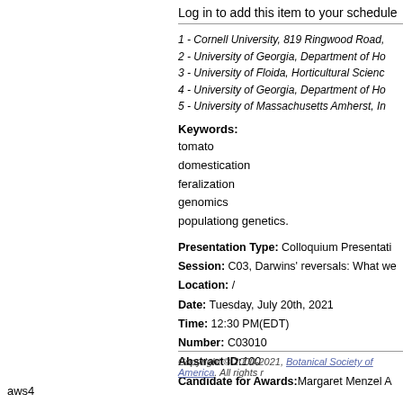Log in to add this item to your schedule
1 - Cornell University, 819 Ringwood Road,
2 - University of Georgia, Department of Ho
3 - University of Floida, Horticultural Scienc
4 - University of Georgia, Department of Ho
5 - University of Massachusetts Amherst, In
Keywords:
tomato
domestication
feralization
genomics
populationg genetics.
Presentation Type: Colloquium Presentati
Session: C03, Darwins' reversals: What we
Location: /
Date: Tuesday, July 20th, 2021
Time: 12:30 PM(EDT)
Number: C03010
Abstract ID: 100
Candidate for Awards: Margaret Menzel A
Copyright © 2000-2021, Botanical Society of America. All rights r
aws4